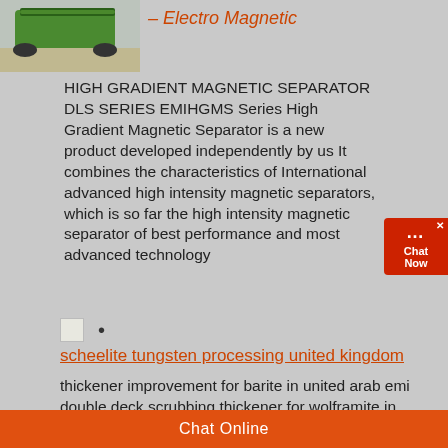[Figure (photo): Green tracked mining equipment/conveyor machine in a facility, top-left corner of page]
– Electro Magnetic
HIGH GRADIENT MAGNETIC SEPARATOR DLS SERIES EMIHGMS Series High Gradient Magnetic Separator is a new product developed independently by us It combines the characteristics of International advanced high intensity magnetic separators, which is so far the high intensity magnetic separator of best performance and most advanced technology
•
scheelite tungsten processing united kingdom
thickener improvement for barite in united arab emi double deck scrubbing thickener for wolframite in united cip gold processing plant for antimony in united arab emi for gold mining double deck scrubbing thickener...
Chat Online